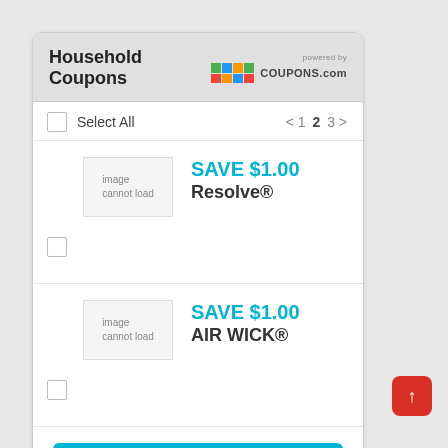Household Coupons
Select All  < 1 2 3 >
[Figure (other): Image cannot load placeholder for Resolve coupon]
SAVE $1.00
Resolve®
[Figure (other): Image cannot load placeholder for Air Wick coupon]
SAVE $1.00
AIR WICK®
Get Coupons